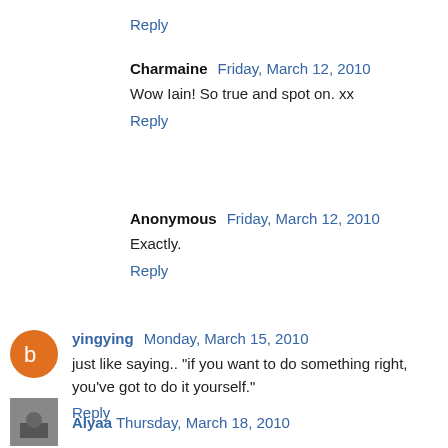Reply
Charmaine  Friday, March 12, 2010
Wow Iain! So true and spot on. xx
Reply
Anonymous  Friday, March 12, 2010
Exactly.
Reply
yingying  Monday, March 15, 2010
just like saying.. "if you want to do something right, you've got to do it yourself."
Reply
Alyaa  Thursday, March 18, 2010